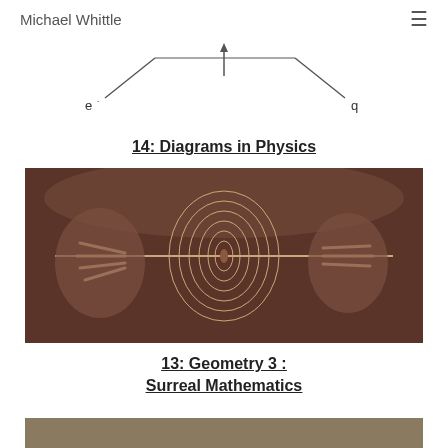Michael Whittle
[Figure (schematic): Physics diagram showing lines with labels e and q at the ends, with an upward arrow in the middle]
14: Diagrams in Physics
[Figure (photo): Vintage engraving of two hands holding a spinning top or gyroscope on a horizontal axle, with concentric circular rings visible on the spinning object]
13: Geometry 3 : Surreal Mathematics
[Figure (photo): Bottom strip of another image, appears to be a partial view of a document or diagram]